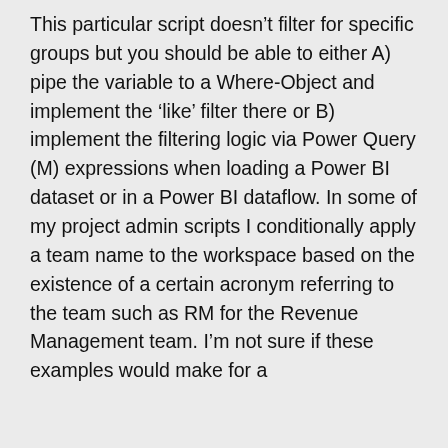This particular script doesn't filter for specific groups but you should be able to either A) pipe the variable to a Where-Object and implement the 'like' filter there or B) implement the filtering logic via Power Query (M) expressions when loading a Power BI dataset or in a Power BI dataflow. In some of my project admin scripts I conditionally apply a team name to the workspace based on the existence of a certain acronym referring to the team such as RM for the Revenue Management team. I'm not sure if these examples would make for a